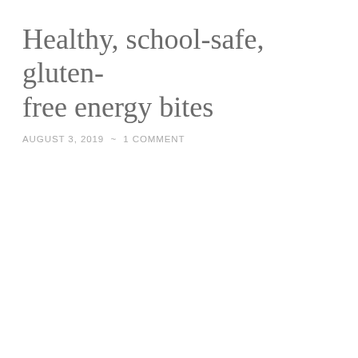Healthy, school-safe, gluten-free energy bites
AUGUST 3, 2019 ~ 1 COMMENT